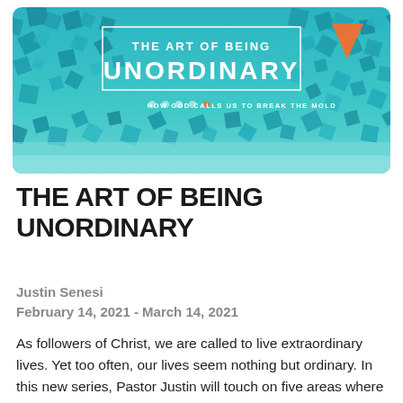[Figure (illustration): Banner image for sermon series 'The Art of Being Unordinary – How God Calls Us to Break the Mold'. Teal/turquoise background with scattered 3D cubes and an orange triangle accent. White text reads 'THE ART OF BEING UNORDINARY' in a rectangular border with subtitle 'HOW GOD CALLS US TO BREAK THE MOLD'. Navigation dots below the title.]
THE ART OF BEING UNORDINARY
Justin Senesi
February 14, 2021 - March 14, 2021
As followers of Christ, we are called to live extraordinary lives. Yet too often, our lives seem nothing but ordinary. In this new series, Pastor Justin will touch on five areas where our choices